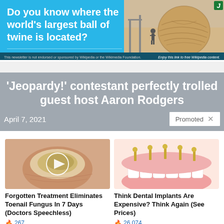[Figure (photo): Advertisement banner with blue background asking 'Do you know where the world's largest ball of twine is located?' with an image of a large ball of twine on the right side]
'Jeopardy!' contestant perfectly trolled guest host Aaron Rodgers
April 7, 2021
[Figure (photo): Advertisement image showing a toenail with fungus infection with a video play button overlay]
Forgotten Treatment Eliminates Toenail Fungus In 7 Days (Doctors Speechless)
267
[Figure (photo): Advertisement image showing dental implants illustration]
Think Dental Implants Are Expensive? Think Again (See Prices)
26,074